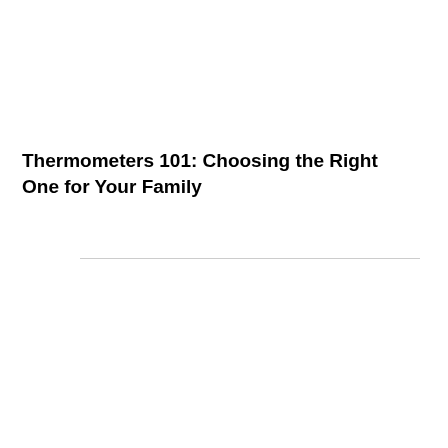Thermometers 101: Choosing the Right One for Your Family